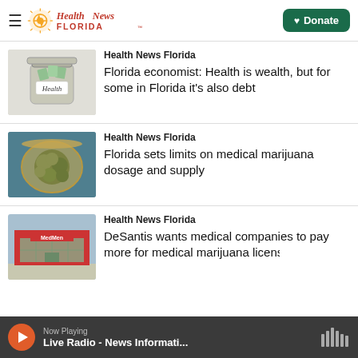Health News Florida — Donate
[Figure (photo): Glass jar labeled 'Health' with money inside]
Health News Florida
Florida economist: Health is wealth, but for some in Florida it's also debt
[Figure (photo): Glass jar with medical marijuana buds on blue background]
Health News Florida
Florida sets limits on medical marijuana dosage and supply
[Figure (photo): Red building with MedMen sign exterior]
Health News Florida
DeSantis wants medical companies to pay more for medical marijuana licenses
Now Playing — Live Radio - News Informati...